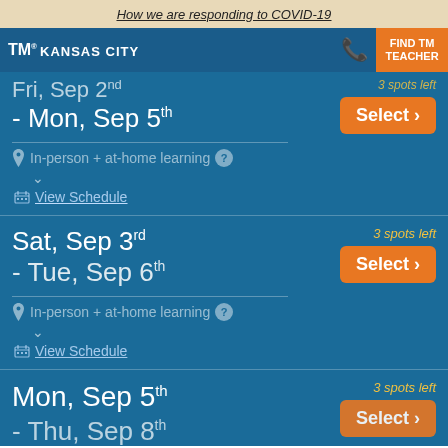How we are responding to COVID-19
TM® KANSAS CITY | FIND TM TEACHER
Fri, Sep 2nd - Mon, Sep 5th | 3 spots left | Select | In-person + at-home learning | View Schedule
Sat, Sep 3rd - Tue, Sep 6th | 3 spots left | Select | In-person + at-home learning | View Schedule
Mon, Sep 5th | 3 spots left | Select